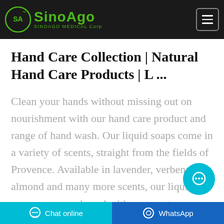SINOAGO MEDICAL Corp
Hand Care Collection | Natural Hand Care Products | L ...
Clean your hands without missing out on nourishment with our hand care product and range of hand wash. Our liquid soaps come in a variety of scents, straight from the fields of Provence. Available in lavender, verbena, almond and many more scents, our liquid soaps come packaged with an easy-to-use pump and are also available as refills. For
Chat online   WhatsApp